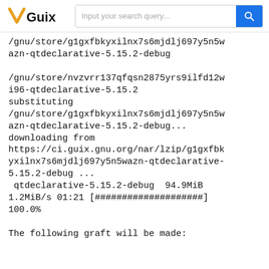Guix — Input your search query...
/gnu/store/g1gxfbkyxilnx7s6mjdlj697y5n5wazn-qtdeclarative-5.15.2-debug

/gnu/store/nvzvrr137qfqsn2875yrs9ilfd12wi96-qtdeclarative-5.15.2
substituting /gnu/store/g1gxfbkyxilnx7s6mjdlj697y5n5wazn-qtdeclarative-5.15.2-debug...
downloading from https://ci.guix.gnu.org/nar/lzip/g1gxfbkyxilnx7s6mjdlj697y5n5wazn-qtdeclarative-5.15.2-debug ...
 qtdeclarative-5.15.2-debug  94.9MiB 1.2MiB/s 01:21 [####################] 100.0%

The following graft will be made: